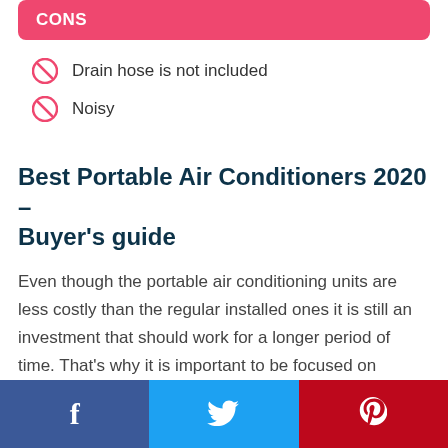CONS
Drain hose is not included
Noisy
Best Portable Air Conditioners 2020 – Buyer's guide
Even though the portable air conditioning units are less costly than the regular installed ones it is still an investment that should work for a longer period of time. That's why it is important to be focused on several aspects before you will get one.
Facebook | Twitter | Pinterest